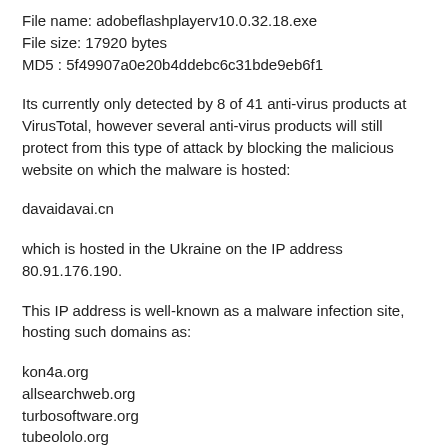File name: adobeflashplayerv10.0.32.18.exe
File size: 17920 bytes
MD5 : 5f49907a0e20b4ddebc6c31bde9eb6f1
Its currently only detected by 8 of 41 anti-virus products at VirusTotal, however several anti-virus products will still protect from this type of attack by blocking the malicious website on which the malware is hosted:
davaidavai.cn
which is hosted in the Ukraine on the IP address 80.91.176.190.
This IP address is well-known as a malware infection site, hosting such domains as:
kon4a.org
allsearchweb.org
turbosoftware.org
tubeololo.org
trailerfobia.cn